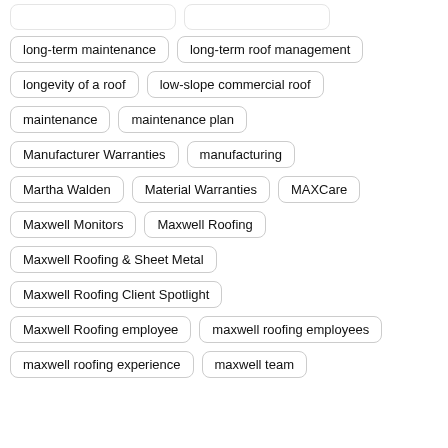long-term maintenance
long-term roof management
longevity of a roof
low-slope commercial roof
maintenance
maintenance plan
Manufacturer Warranties
manufacturing
Martha Walden
Material Warranties
MAXCare
Maxwell Monitors
Maxwell Roofing
Maxwell Roofing & Sheet Metal
Maxwell Roofing Client Spotlight
Maxwell Roofing employee
maxwell roofing employees
maxwell roofing experience
maxwell team